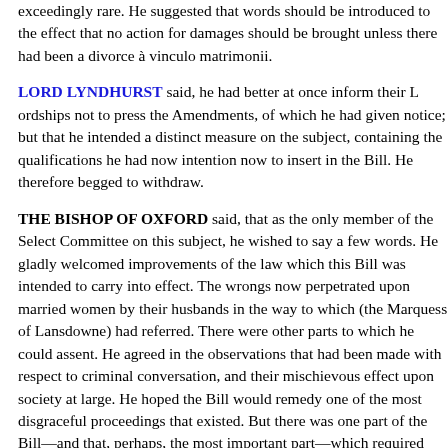exceedingly rare. He suggested that words should be introduced to the effect that no action for damages should be brought unless there had been a divorce à vinculo matrimonii.
LORD LYNDHURST said, he had better at once inform their Lordships not to press the Amendments, of which he had given notice; but that he intended a distinct measure on the subject, containing the qualifications he had now intention now to insert in the Bill. He therefore begged to withdraw.
THE BISHOP OF OXFORD said, that as the only member of the Select Committee on this subject, he wished to say a few words. He gladly welcomed improvements of the law which this Bill was intended to carry into effect. The wrongs now perpetrated upon married women by their husbands in the way to which (the Marquess of Lansdowne) had referred. There were other parts to which he could assent. He agreed in the observations that had been made with respect to criminal conversation, and their mischievous effect upon society at large. He hoped the Bill would remedy one of the most disgraceful proceedings that existed. But there was one part of the Bill—and that, perhaps, the most important part—which required consideration, upon moral and social grounds, he, for one, could not support. The fundamental part of the measure, the object of which was to fa... adultery on the part of the wife, and in case of adultery with...